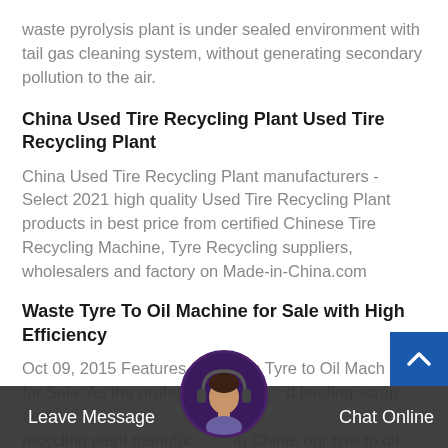waste pyrolysis plant is under sealed environment with tail gas cleaning system, without generating secondary pollution to the air.
China Used Tire Recycling Plant Used Tire Recycling Plant
China Used Tire Recycling Plant manufacturers - Select 2021 high quality Used Tire Recycling Plant products in best price from certified Chinese Tire Recycling Machine, Tyre Recycling suppliers, wholesalers and factory on Made-in-China.com
Waste Tyre To Oil Machine for Sale with High Efficiency
Oct 09, 2015 Features of Beston Tyre to Oil Machine for Sale. As the professional and leading scrap tyre recycling plant manufacturer in China, our tyre to oil
Leave Message   Chat Online